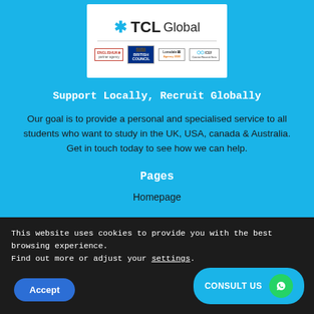[Figure (logo): TCL Global logo with partner badges: EnglishUK, British Council, Agency 2030, ICEF]
Support Locally, Recruit Globally
Our goal is to provide a personal and specialised service to all students who want to study in the UK, USA, canada & Australia. Get in touch today to see how we can help.
Pages
Homepage
This website uses cookies to provide you with the best browsing experience.
Find out more or adjust your settings.